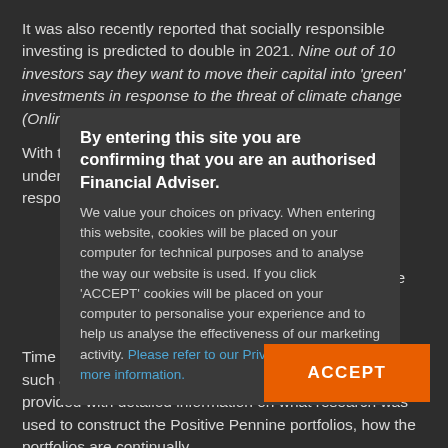It was also recently reported that socially responsible investing is predicted to double in 2021. Nine out of 10 investors say they want to move their capital into 'green' investments in response to the threat of climate change (OnlineSurvey April 2021). *
By entering this site you are confirming that you are an authorised Financial Adviser.
We value your choices on privacy. When entering this website, cookies will be placed on your computer for technical purposes and to analyse the way our website is used. If you click 'ACCEPT' cookies will be placed on your computer to personalise your experience and to help us analyse the effectiveness of our marketing activity. Please refer to our Privacy Policy for more information.
With this in mind, it's important that Financial Advisers understand and are able to offer sustainable and responsible investment solutions to their clients.
Here at Pennine, we have been working with Financial Advisers over the last five years and continue to invest in providing education on the importance of sustainable and responsible investing.
Time is taken to explain the terminology used in this area, such as ethical, impact and ESG and so on. Advisers are provided with detailed information on what research was used to construct the Positive Pennine portfolios, how the portfolios are continually